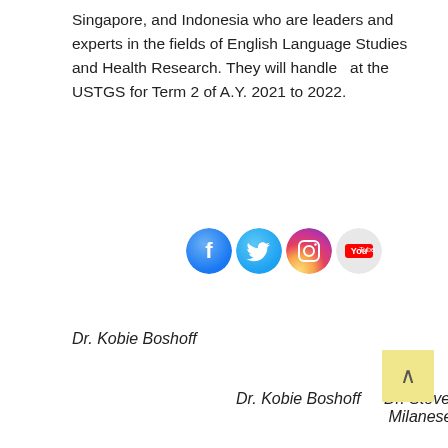Singapore, and Indonesia who are leaders and experts in the fields of English Language Studies and Health Research. They will handle  at the USTGS for Term 2 of A.Y. 2021 to 2022.
[Figure (other): Four social media icons: Facebook (blue circle), Twitter (blue bird circle), Instagram (camera circle), YouTube (red/white circle)]
Dr. Kobie Boshoff
Dr. Kobie Boshoff
Dr. Steven Milanese